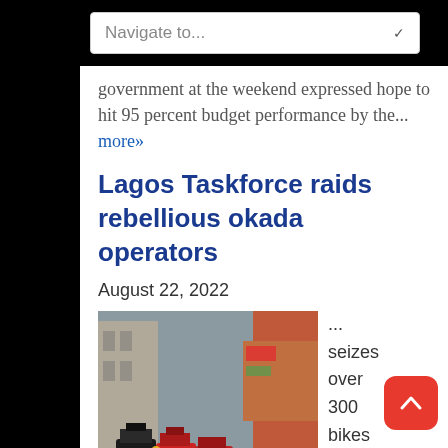Navigate to...
government at the weekend expressed hope to hit 95 percent budget performance by the... more»
Lagos Taskforce raids rebellious okada operators
August 22, 2022
[Figure (photo): Multiple motorcycles (okadas) parked or seized on a street, viewed from street level]
... seizes over 300 bikes in one week